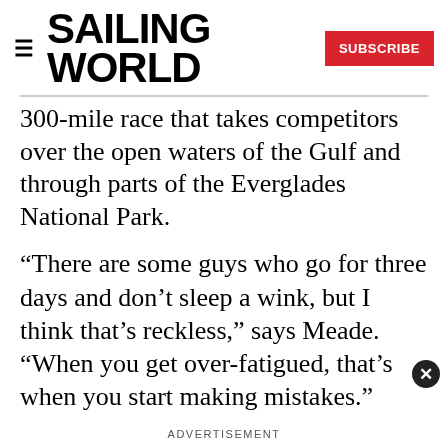SAILING WORLD | SUBSCRIBE
300-mile race that takes competitors over the open waters of the Gulf and through parts of the Everglades National Park.
“There are some guys who go for three days and don’t sleep a wink, but I think that’s reckless,” says Meade. “When you get over-fatigued, that’s when you start making mistakes.”
ADVERTISEMENT
Hence Meade’s “catnap” program. When